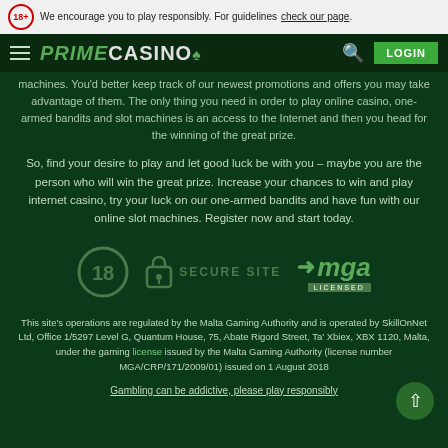We encourage you to play responsibly. For guidelines check our page.
PRIME CASINO LOGIN
machines. You'd better keep track of our newest promotions and offers you may take advantage of them. The only thing you need in order to play online casino, one-armed bandits and slot machines is an access to the Internet and then you head for the winning of the great prize.
So, find your desire to play and let good luck be with you – maybe you are the person who will win the great prize. Increase your chances to win and play internet casino, try your luck on our one-armed bandits and have fun with our online slot machines. Register now and start today.
[Figure (logo): 18+ badge, Secure Site badge with lock icon, MGA Licensed logo]
This site's operations are regulated by the Malta Gaming Authority and is operated by SkillOnNet Ltd, Office 1/5297 Level G, Quantum House, 75, Abate Rigord Street, Ta' Xbiex, XBX 1120, Malta, under the gaming license issued by the Malta Gaming Authority (license number MGA/CRP/171/2009/01) issued on 1 August 2018
Gambling can be addictive, please play responsibly